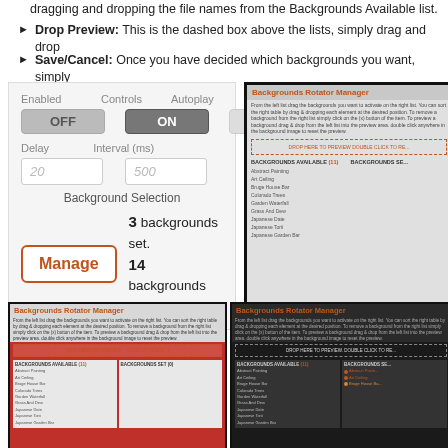dragging and dropping the file names from the Backgrounds Available list.
Drop Preview: This is the dashed box above the lists, simply drag and drop
Save/Cancel: Once you have decided which backgrounds you want, simply
[Figure (screenshot): UI control panel showing Enabled/Controls/Autoplay toggles (OFF, ON, OFF), Delay and Interval fields (20, 500), Background Selection with Manage button showing 3 backgrounds set, 14 backgrounds found.]
[Figure (screenshot): Backgrounds Rotator Manager dialog showing available backgrounds list including Abstract Painting, Art Ceiling, Bruge House Bar, Colorado Trees, Garden Waterfall, Grass And Dew, Japanese Date, Japanese Torii, Japanese Garden Bar]
[Figure (screenshot): Backgrounds Rotator Manager dialog on red background with drop preview area and backgrounds available list]
[Figure (screenshot): Backgrounds Rotator Manager dialog on dark background with selected backgrounds (Art Ceiling, Bruge House Bar highlighted in orange)]